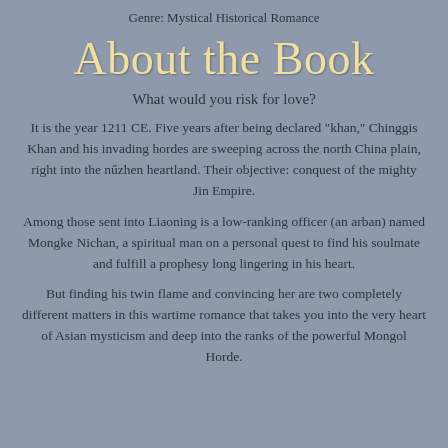Genre: Mystical Historical Romance
About the Book
What would you risk for love?
It is the year 1211 CE. Five years after being declared "khan," Chinggis Khan and his invading hordes are sweeping across the north China plain, right into the nűzhen heartland. Their objective: conquest of the mighty Jin Empire.
Among those sent into Liaoning is a low-ranking officer (an arban) named Mongke Nichan, a spiritual man on a personal quest to find his soulmate and fulfill a prophesy long lingering in his heart.
But finding his twin flame and convincing her are two completely different matters in this wartime romance that takes you into the very heart of Asian mysticism and deep into the ranks of the powerful Mongol Horde.